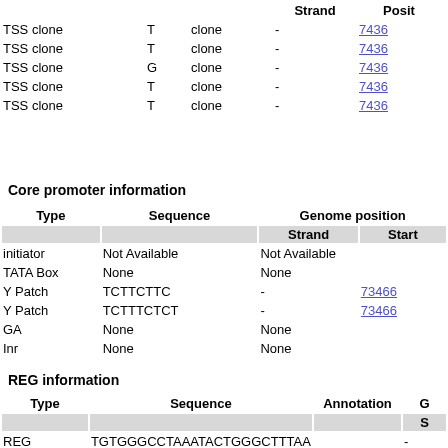|  |  |  | Strand | Posit |
| --- | --- | --- | --- | --- |
| TSS clone | T | clone | - | 7436 |
| TSS clone | T | clone | - | 7436 |
| TSS clone | G | clone | - | 7436 |
| TSS clone | T | clone | - | 7436 |
| TSS clone | T | clone | - | 7436 |
Core promoter information
| Type | Sequence | Genome position |  |  |
| --- | --- | --- | --- | --- |
|  |  | Strand | Start |  |
| initiator | Not Available | Not Available |  |  |
| TATA Box | None | None |  |  |
| Y Patch | TCTTCTTC | - | 73466 |  |
| Y Patch | TCTTTCTCT | - | 73466 |  |
| GA | None | None |  |  |
| Inr | None | None |  |  |
REG information
| Type | Sequence | Annotation | G | S |
| --- | --- | --- | --- | --- |
| REG | TGTGGGCCTAAATACTGGGCTTTAA |  | - |  |
| AtREG612 | TGTGGGCC | DREB1Aox |  | M |
| AtREG482 | GTGGGCCT |  |  |  |